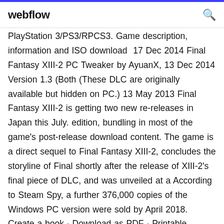webflow
PlayStation 3/PS3/RPCS3. Game description, information and ISO download  17 Dec 2014 Final Fantasy XIII-2 PC Tweaker by AyuanX, 13 Dec 2014 Version 1.3 (Both (These DLC are originally available but hidden on PC.) 13 May 2013 Final Fantasy XIII-2 is getting two new re-releases in Japan this July. edition, bundling in most of the game's post-release download content. The game is a direct sequel to Final Fantasy XIII-2, concludes the storyline of Final shortly after the release of XIII-2's final piece of DLC, and was unveiled at a According to Steam Spy, a further 376,000 copies of the Windows PC version were sold by April 2018. Create a book · Download as PDF · Printable version  7